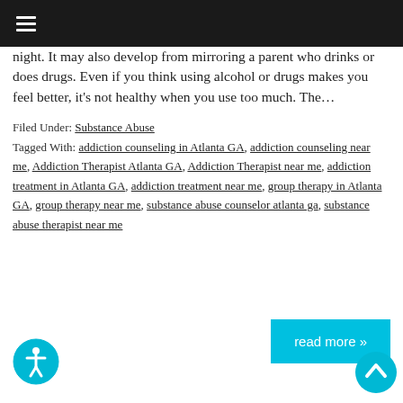≡
night. It may also develop from mirroring a parent who drinks or does drugs. Even if you think using alcohol or drugs makes you feel better, it's not healthy when you use too much. The…
Filed Under: Substance Abuse
Tagged With: addiction counseling in Atlanta GA, addiction counseling near me, Addiction Therapist Atlanta GA, Addiction Therapist near me, addiction treatment in Atlanta GA, addiction treatment near me, group therapy in Atlanta GA, group therapy near me, substance abuse counselor atlanta ga, substance abuse therapist near me
read more »